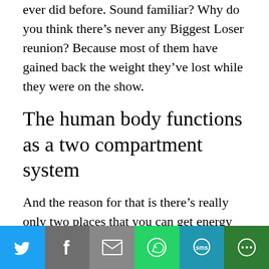ever did before. Sound familiar? Why do you think there's never any Biggest Loser reunion? Because most of them have gained back the weight they've lost while they were on the show.
The human body functions as a two compartment system
And the reason for that is there's really only two places that you can get energy f...
[Figure (infographic): Social media share bar with icons for Twitter, Facebook, Email, WhatsApp, SMS, and More]